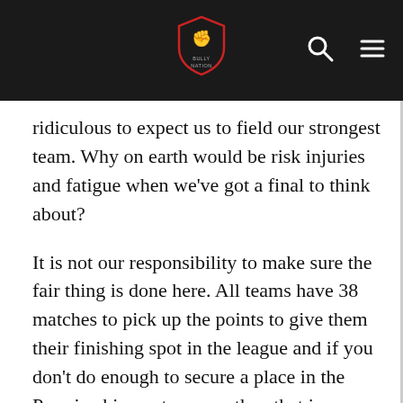[Logo: BULLY NATION / YNWA with shield crest, search icon, menu icon]
ridiculous to expect us to field our strongest team. Why on earth would be risk injuries and fatigue when we've got a final to think about?
It is not our responsibility to make sure the fair thing is done here. All teams have 38 matches to pick up the points to give them their finishing spot in the league and if you don't do enough to secure a place in the Premiership next season, then that is your look out.
Middlesbrough beat Liverpool this season when the likes of Benayoun, Riera and Ngog were on the